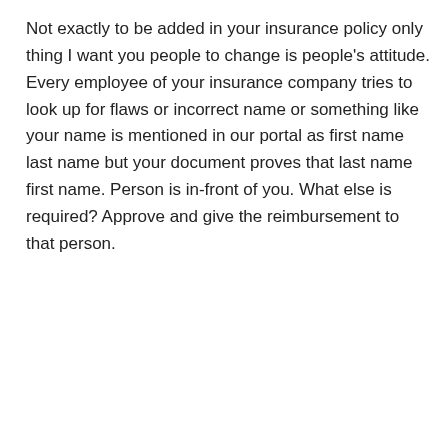Not exactly to be added in your insurance policy only thing I want you people to change is people's attitude. Every employee of your insurance company tries to look up for flaws or incorrect name or something like your name is mentioned in our portal as first name last name but your document proves that last name first name. Person is in-front of you. What else is required? Approve and give the reimbursement to that person.
Tags: Aniljadhav3001@gmail.com
0 Kudos
Share
Reply
[Figure (other): Decorative wavy pattern divider between posts]
subodhbanthia@gmail.com
New Member